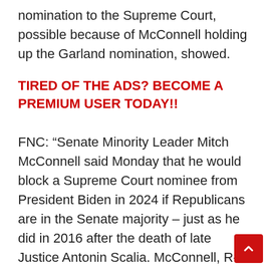nomination to the Supreme Court, possible because of McConnell holding up the Garland nomination, showed.
TIRED OF THE ADS? BECOME A PREMIUM USER TODAY!!
FNC: “Senate Minority Leader Mitch McConnell said Monday that he would block a Supreme Court nominee from President Biden in 2024 if Republicans are in the Senate majority – just as he did in 2016 after the death of late Justice Antonin Scalia. McConnell, R-Ky., made the comment in an interview with conservative radio host Hugh Hewitt. The commitment follows a controversial decision McConnell made last year to plow ahead in confirming Justice Amy Coney